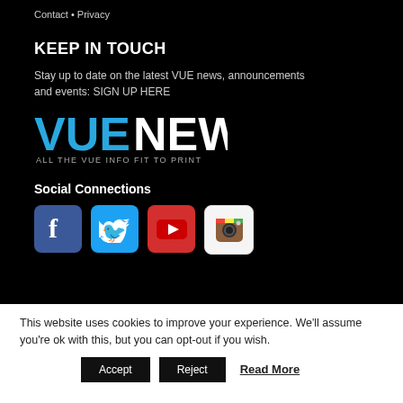Contact • Privacy
KEEP IN TOUCH
Stay up to date on the latest VUE news, announcements and events: SIGN UP HERE
[Figure (logo): VUE NEWS logo — 'VUE' in cyan/blue and 'NEWS' in white, with tagline 'ALL THE VUE INFO FIT TO PRINT' below]
Social Connections
[Figure (illustration): Four social media icons: Facebook (blue), Twitter (light blue), YouTube (red), Instagram (white/colorful)]
This website uses cookies to improve your experience. We'll assume you're ok with this, but you can opt-out if you wish.
Accept   Reject   Read More